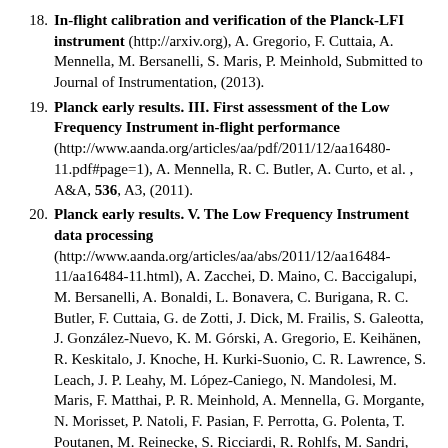18. In-flight calibration and verification of the Planck-LFI instrument (http://arxiv.org), A. Gregorio, F. Cuttaia, A. Mennella, M. Bersanelli, S. Maris, P. Meinhold, Submitted to Journal of Instrumentation, (2013).
19. Planck early results. III. First assessment of the Low Frequency Instrument in-flight performance (http://www.aanda.org/articles/aa/pdf/2011/12/aa16480-11.pdf#page=1), A. Mennella, R. C. Butler, A. Curto, et al. , A&A, 536, A3, (2011).
20. Planck early results. V. The Low Frequency Instrument data processing (http://www.aanda.org/articles/aa/abs/2011/12/aa16484-11/aa16484-11.html), A. Zacchei, D. Maino, C. Baccigalupi, M. Bersanelli, A. Bonaldi, L. Bonavera, C. Burigana, R. C. Butler, F. Cuttaia, G. de Zotti, J. Dick, M. Frailis, S. Galeotta, J. González-Nuevo, K. M. Górski, A. Gregorio, E. Keihänen, R. Keskitalo, J. Knoche, H. Kurki-Suonio, C. R. Lawrence, S. Leach, J. P. Leahy, M. López-Caniego, N. Mandolesi, M. Maris, F. Matthai, P. R. Meinhold, A. Mennella, G. Morgante, N. Morisset, P. Natoli, F. Pasian, F. Perrotta, G. Polenta, T. Poutanen, M. Reinecke, S. Ricciardi, R. Rohlfs, M. Sandri, A.-S. Suur-Uski, J. A. Tauber, D. Tavagnacco, L. Terenzi, M. Tomasi, J. Valiviita, F. Villa, A. Zonca, A. J. Banday, R. B. Barreiro, J. G. Bartlett, N. Bartolo, L. Bedini, K. Bennett, P. Binko, J. Borrill, F. R. Bouchet, M. Bremer, P. Cabella, B. Cappellini, X. Chen, L. Colombo, M. Cruz, A. Curto, L. Danese, R. D. Davies, R. J. Davis, G. de